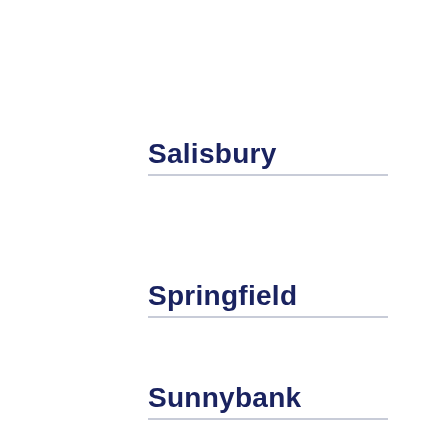Salisbury
Springfield
Sunnybank